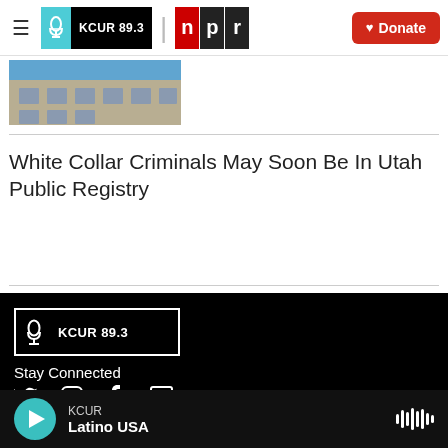≡  KCUR 89.3  |  npr  ♥ Donate
[Figure (photo): Partial photo of a building with blue sky, cropped at top and bottom]
White Collar Criminals May Soon Be In Utah Public Registry
[Figure (logo): KCUR 89.3 logo in white on black background with border]
Stay Connected
Twitter, Instagram, Facebook, LinkedIn social media icons
KCUR  Latino USA